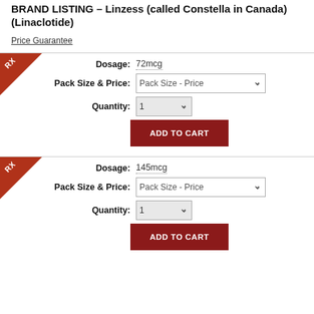BRAND LISTING – Linzess (called Constella in Canada) (Linaclotide)
Price Guarantee
Dosage: 72mcg
Pack Size & Price: Pack Size - Price
Quantity: 1
ADD TO CART
Dosage: 145mcg
Pack Size & Price: Pack Size - Price
Quantity: 1
ADD TO CART